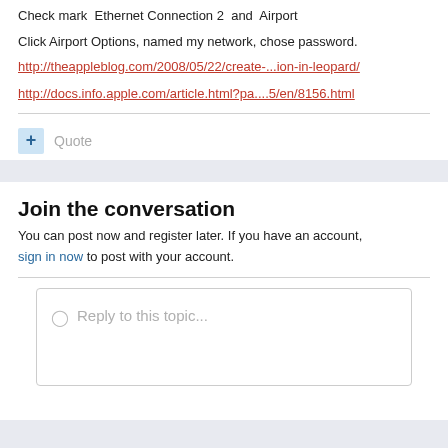Check mark  Ethernet Connection 2  and  Airport
Click Airport Options, named my network, chose password.
http://theappleblog.com/2008/05/22/create-...ion-in-leopard/
http://docs.info.apple.com/article.html?pa....5/en/8156.html
Quote
Join the conversation
You can post now and register later. If you have an account, sign in now to post with your account.
Reply to this topic...